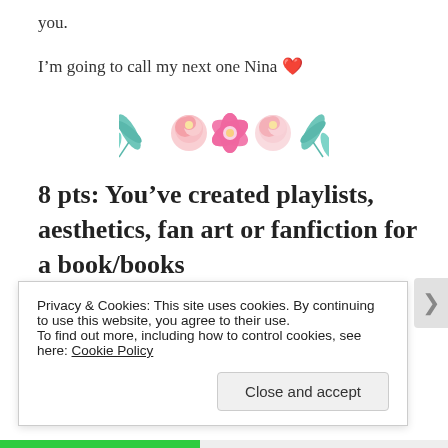you.
I’m going to call my next one Nina ❤️
[Figure (illustration): Decorative row of floral and leaf emojis/illustrations: teal leaf, pink peony, pink hibiscus, pink peony, teal leaf]
8 pts: You’ve created playlists, aesthetics, fan art or fanfiction for a book/books
Privacy & Cookies: This site uses cookies. By continuing to use this website, you agree to their use.
To find out more, including how to control cookies, see here: Cookie Policy
Close and accept